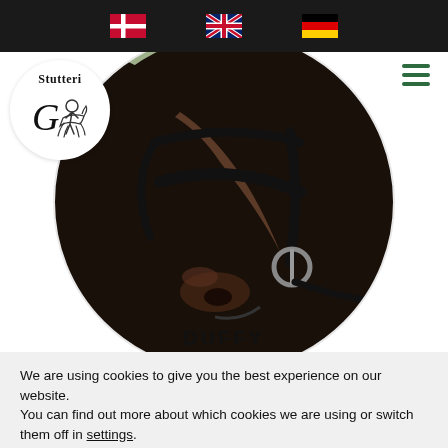Navigation bar with Danish, UK, and German flag icons
[Figure (logo): Stutteri G logo — white circle with horse-and-rider silhouette and text 'Stutteri G']
[Figure (photo): Close-up photograph of a dark brown horse wearing a black bridle and bit, with blurred background]
DUFFY
We are using cookies to give you the best experience on our website.
You can find out more about which cookies we are using or switch them off in settings.
Accept
Reject
Settings